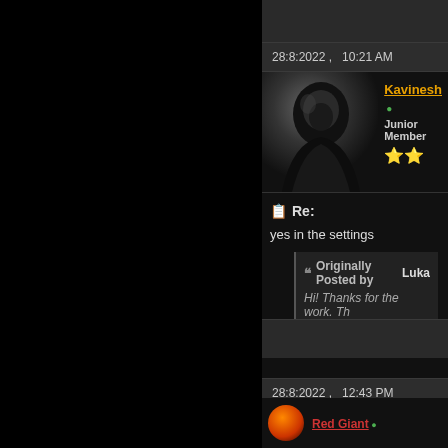28:8:2022 ,   10:21 AM
[Figure (photo): Avatar of Kavinesh: dark hooded figure silhouette against grey background]
Kavinesh • Junior Member ★★
Re:
yes in the settings
Originally Posted by Luka
Hi! Thanks for the work. Th
28:8:2022 ,   12:43 PM
Red Giant •